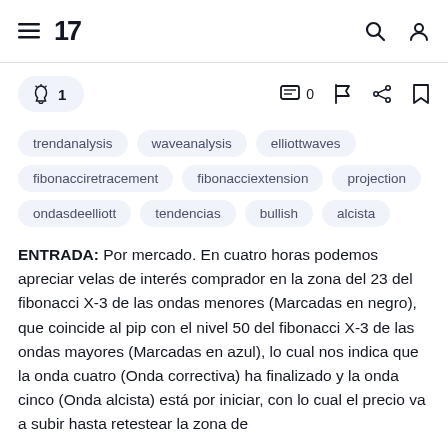TradingView navigation bar with hamburger menu, TV logo, search and account icons
[Figure (infographic): Action bar with boost button showing rocket icon and count 1, comment icon with 0, flag icon, share icon, bookmark icon]
trendanalysis
waveanalysis
elliottwaves
fibonacciretracement
fibonacciextension
projection
ondasdeelliott
tendencias
bullish
alcista
ENTRADA: Por mercado. En cuatro horas podemos apreciar velas de interés comprador en la zona del 23 del fibonacci X-3 de las ondas menores (Marcadas en negro), que coincide al pip con el nivel 50 del fibonacci X-3 de las ondas mayores (Marcadas en azul), lo cual nos indica que la onda cuatro (Onda correctiva) ha finalizado y la onda cinco (Onda alcista) está por iniciar, con lo cual el precio va a subir hasta retestear la zona de